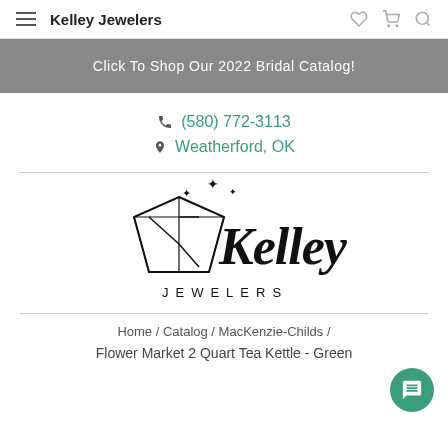Kelley Jewelers
Click To Shop Our 2022 Bridal Catalog!
(580) 772-3113
Weatherford, OK
[Figure (logo): Kelley Jewelers logo with diamond gem and script lettering]
Home / Catalog / MacKenzie-Childs /
Flower Market 2 Quart Tea Kettle - Green